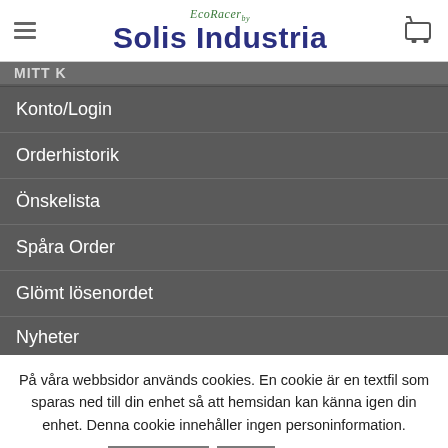EcoRacer by Solis Industria
MITT K
Konto/Login
Orderhistorik
Önskelista
Spåra Order
Glömt lösenordet
På våra webbsidor används cookies. En cookie är en textfil som sparas ned till din enhet så att hemsidan kan känna igen din enhet. Denna cookie innehåller ingen personinformation.
Godkänn   Nej   Läs Mer